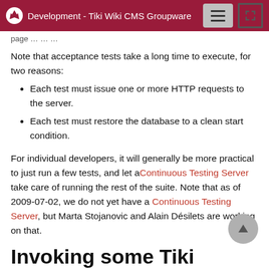Development - Tiki Wiki CMS Groupware
…previous text (truncated)…
Note that acceptance tests take a long time to execute, for two reasons:
Each test must issue one or more HTTP requests to the server.
Each test must restore the database to a clean start condition.
For individual developers, it will generally be more practical to just run a few tests, and let a Continuous Testing Server take care of running the rest of the suite. Note that as of 2009-07-02, we do not yet have a Continuous Testing Server, but Marta Stojanovic and Alain Désilets are working on that.
Invoking some Tiki